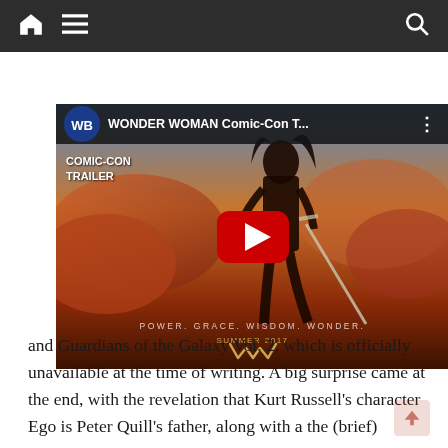Navigation bar with home, menu, and search icons
[Figure (screenshot): YouTube video thumbnail for 'WONDER WOMAN Comic-Con T...' showing Wonder Woman character standing with sword against orange sky background, with WB logo, red play button overlay, text 'COMIC-CON TRAILER', 'POWER. GRACE. WISDOM. WONDER.' and Wonder Woman logo]
and Guardians of the Galaxy Vol. 2, which is officially unavailable at the time of writing. A big surprise came at the end, with the revelation that Kurt Russell's character Ego is Peter Quill's father, along with a the (brief)